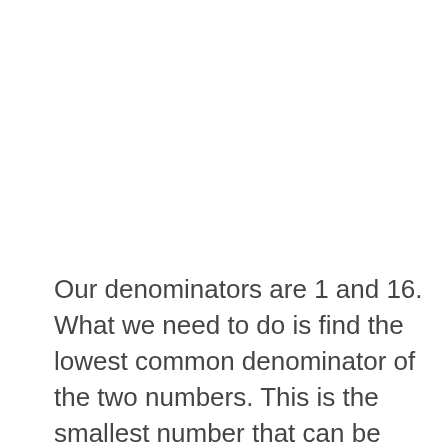Our denominators are 1 and 16. What we need to do is find the lowest common denominator of the two numbers. This is the smallest number that can be divided by both 1 and 16. In this case, the lowest common denominator is 16.